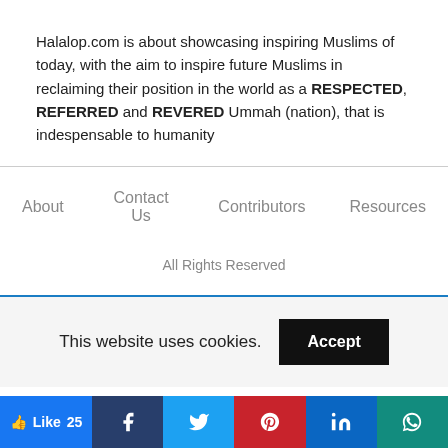Halalop.com is about showcasing inspiring Muslims of today, with the aim to inspire future Muslims in reclaiming their position in the world as a RESPECTED, REFERRED and REVERED Ummah (nation), that is indespensable to humanity
About   Contact Us   Contributors   Resources
All Rights Reserved
This website uses cookies.  Accept
Like 25